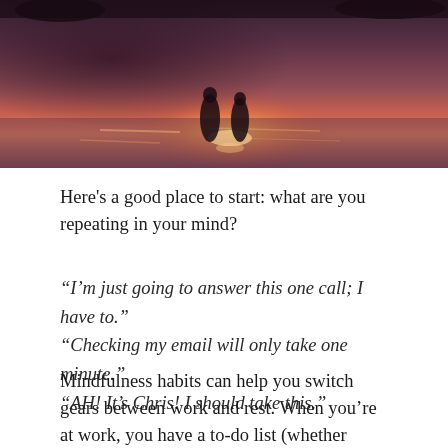[Figure (photo): A dusky sunset/sunrise photo over water with silhouetted figures, warm orange and purple tones with light reflecting on the water surface.]
Here's a good place to start: what are you repeating in your mind?
“I’m just going to answer this one call; I have to.” “Checking my email will only take one minute.” “AH! It’s Chris! I should take this.”
Mindfulness habits can help you switch gears between work and rest. When you’re at work, you have a to-do list (whether physical or mental.) You are conditioned to operate in this mode; it’s your current habit. Rather than trying to completely re-wire yourself on your day(s) off, piggyback on your existing habit and give yourself a task for today. Maybe it’s not BEST To do something...